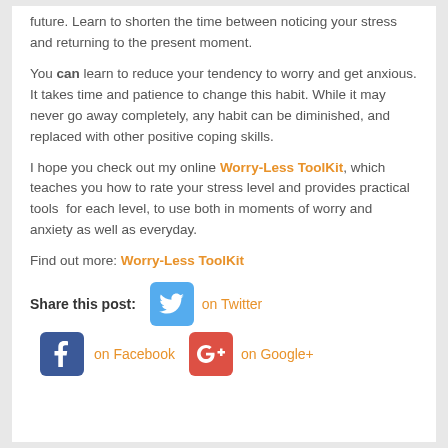future. Learn to shorten the time between noticing your stress and returning to the present moment.
You can learn to reduce your tendency to worry and get anxious. It takes time and patience to change this habit. While it may never go away completely, any habit can be diminished, and replaced with other positive coping skills.
I hope you check out my online Worry-Less ToolKit, which teaches you how to rate your stress level and provides practical tools for each level, to use both in moments of worry and anxiety as well as everyday.
Find out more: Worry-Less ToolKit
Share this post: on Twitter on Facebook on Google+